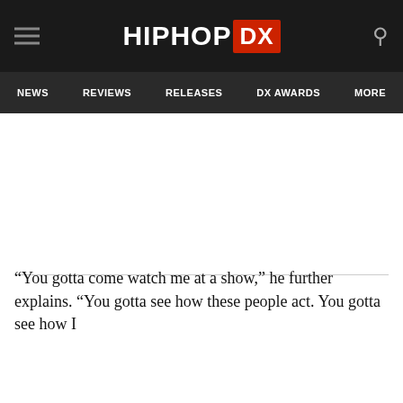HIPHOP DX
NEWS  REVIEWS  RELEASES  DX AWARDS  MORE
[Figure (other): Large blank white content area, likely where a video or image embed would appear]
“You gotta come watch me at a show,” he further explains. “You gotta see how these people act. You gotta see how I